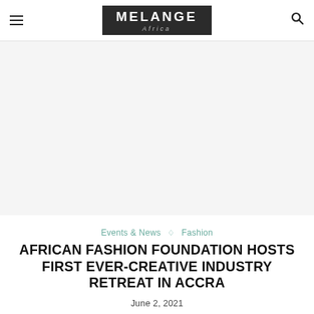MELANGE Africa
[Figure (other): Advertisement or placeholder image area (blank/white space)]
Events & News ◇ Fashion
AFRICAN FASHION FOUNDATION HOSTS FIRST EVER-CREATIVE INDUSTRY RETREAT IN ACCRA
June 2, 2021